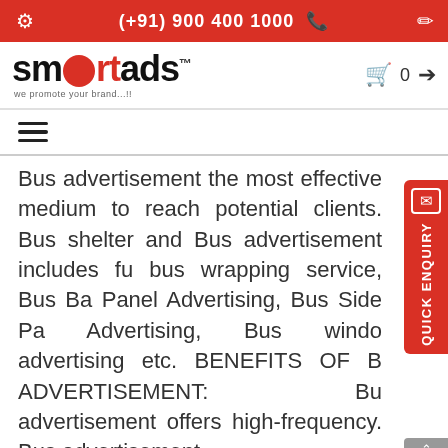(+91) 900 400 1000
[Figure (logo): Smartads logo with tagline: we promote your brand...!!]
Bus advertisement the most effective medium to reach potential clients. Bus shelter and Bus advertisement includes full bus wrapping service, Bus Back Panel Advertising, Bus Side Panel Advertising, Bus window advertising etc. BENEFITS OF BUS ADVERTISEMENT: Bus advertisement offers high-frequency. Bus advertisement